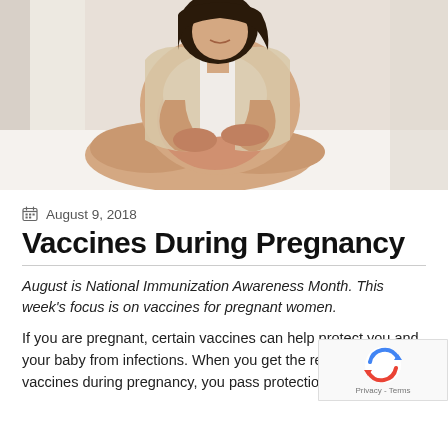[Figure (photo): Pregnant woman sitting cross-legged on a bed, wearing a white top and beige cardigan, holding her baby bump with both hands, light background]
August 9, 2018
Vaccines During Pregnancy
August is National Immunization Awareness Month. This week's focus is on vaccines for pregnant women.
If you are pregnant, certain vaccines can help protect you and your baby from infections. When you get the recommended vaccines during pregnancy, you pass protection to your baby.